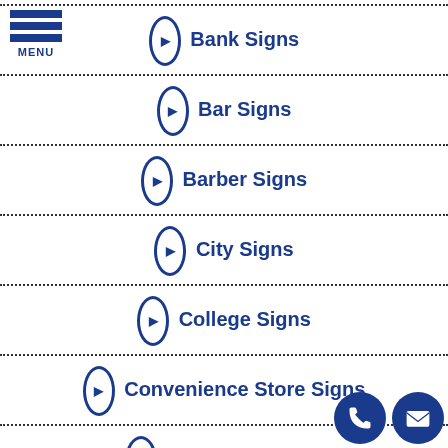[Figure (logo): Hamburger menu icon with three blue horizontal bars and MENU label]
Bank Signs
Bar Signs
Barber Signs
City Signs
College Signs
Convenience Store Signs
Corporate Signs
Dealership Signs
Dentist Signs
[Figure (infographic): Two floating circular icons: phone and envelope, in dark navy blue]